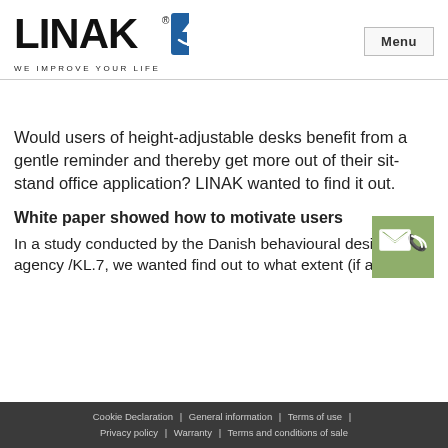[Figure (logo): LINAK logo with blue circular icon and tagline WE IMPROVE YOUR LIFE]
Menu
Would users of height-adjustable desks benefit from a gentle reminder and thereby get more out of their sit-stand office application? LINAK wanted to find it out.
White paper showed how to motivate users
In a study conducted by the Danish behavioural design agency /KL.7, we wanted find out to what extent (if any)
[Figure (illustration): Green contact icon with envelope and phone symbols]
Cookie Declaration | General information | Terms of use | Privacy policy | Warranty | Terms and conditions of sale